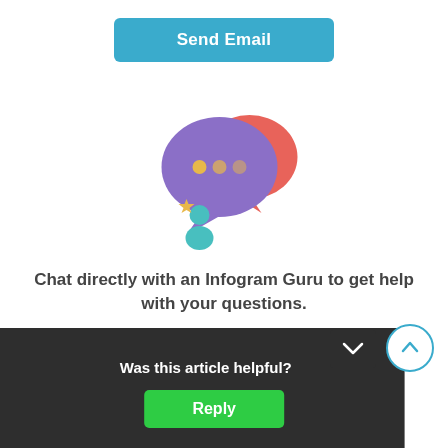[Figure (illustration): Blue 'Send Email' button with rounded corners]
[Figure (illustration): Chat illustration with purple and red speech bubbles containing dots, and a teal person icon with a gold star]
Chat directly with an Infogram Guru to get help with your questions.
[Figure (illustration): Blue 'Open Chat' button with rounded corners]
[Figure (illustration): Dark overlay bar at bottom with 'Was this article helpful?' text, a green Reply button, a dark chevron-down box, and a circle up-arrow button]